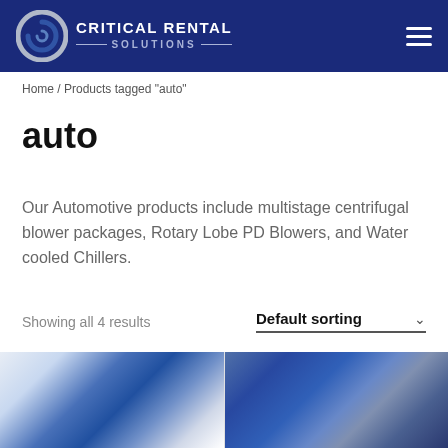Critical Rental Solutions
Home / Products tagged "auto"
auto
Our Automotive products include multistage centrifugal blower packages, Rotary Lobe PD Blowers, and Water cooled Chillers.
Showing all 4 results   Default sorting
[Figure (photo): Two product images showing industrial blower/chiller equipment with blue industrial machinery]